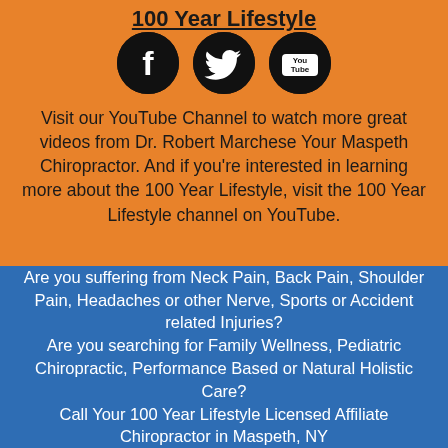100 Year Lifestyle
[Figure (illustration): Three social media icons: Facebook (f), Twitter (bird), and YouTube (You Tube) as white icons on black circles]
Visit our YouTube Channel to watch more great videos from Dr. Robert Marchese Your Maspeth Chiropractor. And if you’re interested in learning more about the 100 Year Lifestyle, visit the 100 Year Lifestyle channel on YouTube.
Are you suffering from Neck Pain, Back Pain, Shoulder Pain, Headaches or other Nerve, Sports or Accident related Injuries?
Are you searching for Family Wellness, Pediatric Chiropractic, Performance Based or Natural Holistic Care?
Call Your 100 Year Lifestyle Licensed Affiliate Chiropractor in Maspeth, NY